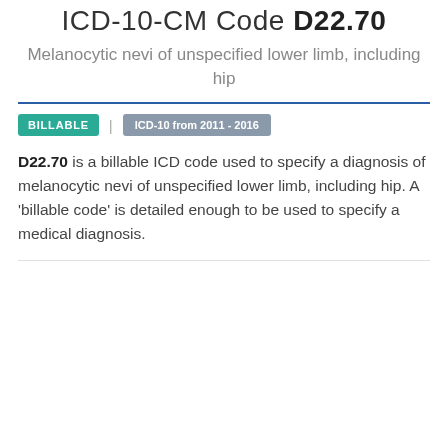ICD-10-CM Code D22.70
Melanocytic nevi of unspecified lower limb, including hip
BILLABLE | ICD-10 from 2011 - 2016
D22.70 is a billable ICD code used to specify a diagnosis of melanocytic nevi of unspecified lower limb, including hip. A 'billable code' is detailed enough to be used to specify a medical diagnosis.